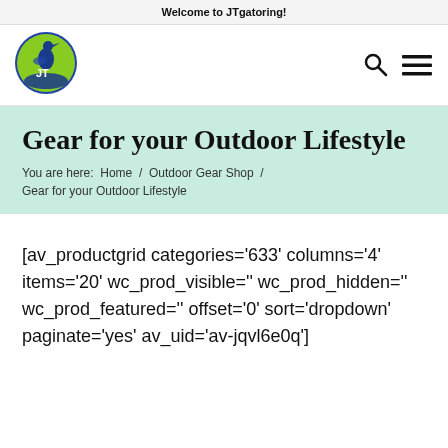Welcome to JTgatoring!
[Figure (logo): JTgatoring circular logo with a heron bird and JT text on green background with blue border]
Gear for your Outdoor Lifestyle
You are here:  Home  /  Outdoor Gear Shop  /  Gear for your Outdoor Lifestyle
[av_productgrid categories='633' columns='4' items='20' wc_prod_visible='' wc_prod_hidden='' wc_prod_featured='' offset='0' sort='dropdown' paginate='yes' av_uid='av-jqvl6e0q']